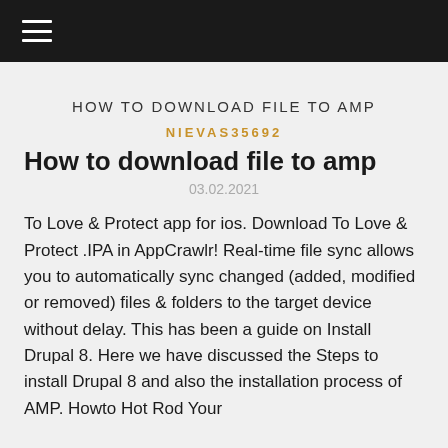≡
HOW TO DOWNLOAD FILE TO AMP
NIEVAS35692
How to download file to amp
03.02.2021
To Love & Protect app for ios. Download To Love & Protect .IPA in AppCrawlr! Real-time file sync allows you to automatically sync changed (added, modified or removed) files & folders to the target device without delay. This has been a guide on Install Drupal 8. Here we have discussed the Steps to install Drupal 8 and also the installation process of AMP. Howto Hot Rod Your